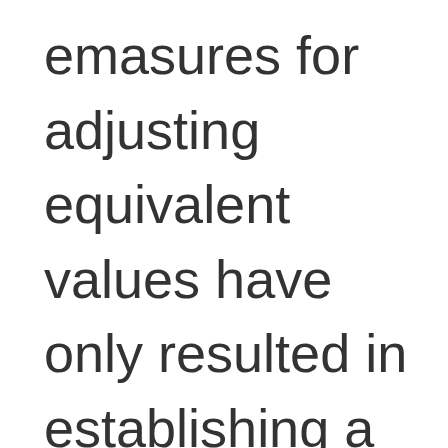emasures for adjusting equivalent values have only resulted in establishing a perpetual means whereby the